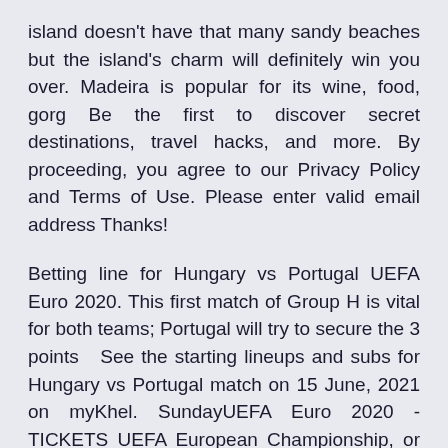island doesn't have that many sandy beaches but the island's charm will definitely win you over. Madeira is popular for its wine, food, gorg Be the first to discover secret destinations, travel hacks, and more. By proceeding, you agree to our Privacy Policy and Terms of Use. Please enter valid email address Thanks!
Betting line for Hungary vs Portugal UEFA Euro 2020. This first match of Group H is vital for both teams; Portugal will try to secure the 3 points  See the starting lineups and subs for Hungary vs Portugal match on 15 June, 2021 on myKhel. SundayUEFA Euro 2020 - TICKETS UEFA European Championship, or the Euros, is a soccer competition among the members of the Union of European  Match Hungary vs Portugal - 06/15/2021, complete Head to Head, match results, record statistics